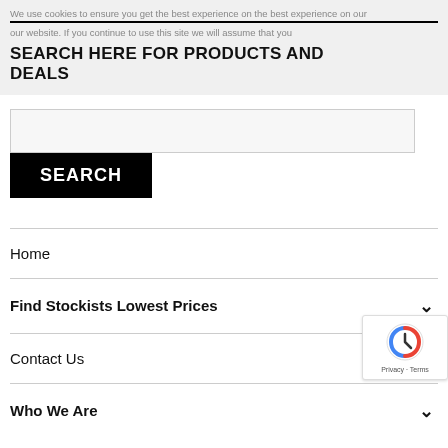We use cookies to ensure you get the best experience on our website. If you continue to use this site we will assume that you
SEARCH HERE FOR PRODUCTS AND DEALS
[Figure (other): Search input box]
[Figure (other): SEARCH button]
Home
Find Stockists Lowest Prices
Contact Us
Who We Are
[Figure (other): reCAPTCHA badge with Privacy and Terms text]